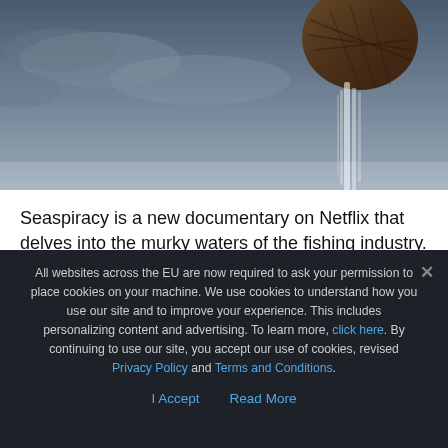[Figure (photo): Top portion of a hero image showing a dark wicker/net ball or object dripping water against a cloudy grey sky background.]
Seaspiracy is a new documentary on Netflix that delves into the murky waters of the fishing industry. I think, to start off, I should declare that I have not eaten fish/seafood for over 35 years now. I have never understood how divers can surface from an amazing dive, chatting about the wonderful marine life they have just
All websites across the EU are now required to ask your permission to place cookies on your machine. We use cookies to understand how you use our site and to improve your experience. This includes personalizing content and advertising. To learn more, click here. By continuing to use our site, you accept our use of cookies, revised Privacy Policy and Terms and Conditions.

I Accept   Read More